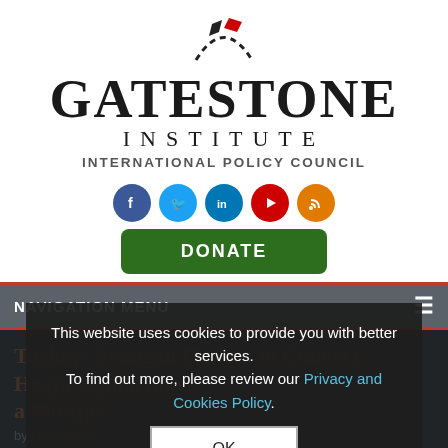[Figure (logo): Gatestone Institute International Policy Council logo with abstract icon above text]
[Figure (infographic): Row of social media icons: Facebook, Twitter, LinkedIn, YouTube, RSS]
[Figure (other): Green DONATE button]
NAVIGATION MENU
Turkey: Erdogan Pledges to Convert Hagia Sophia into a Mosque
by Ozay Bulut
April 7, 2019 at 5:00...
This website uses cookies to provide you with better services. To find out more, please review our Privacy and Cookies Policy.